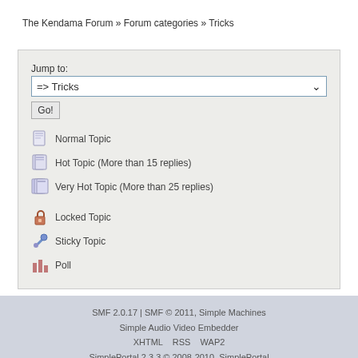The Kendama Forum » Forum categories » Tricks
Jump to:
=> Tricks
Go!
Normal Topic
Hot Topic (More than 15 replies)
Very Hot Topic (More than 25 replies)
Locked Topic
Sticky Topic
Poll
SMF 2.0.17 | SMF © 2011, Simple Machines
Simple Audio Video Embedder
XHTML   RSS   WAP2
SimplePortal 2.3.3 © 2008-2010, SimplePortal